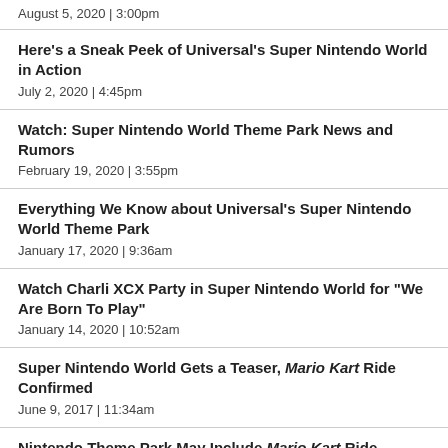August 5, 2020  |  3:00pm
Here's a Sneak Peek of Universal's Super Nintendo World in Action
July 2, 2020  |  4:45pm
Watch: Super Nintendo World Theme Park News and Rumors
February 19, 2020  |  3:55pm
Everything We Know about Universal's Super Nintendo World Theme Park
January 17, 2020  |  9:36am
Watch Charli XCX Party in Super Nintendo World for "We Are Born To Play"
January 14, 2020  |  10:52am
Super Nintendo World Gets a Teaser, Mario Kart Ride Confirmed
June 9, 2017  |  11:34am
Nintendo Theme Park May Include Mario Kart Ride